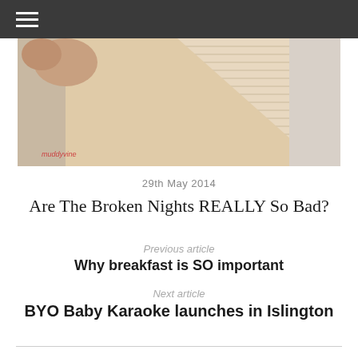☰ (menu icon)
[Figure (photo): Close-up photo of a person holding or wrapped in a cream/beige knitted blanket or sweater fabric]
29th May 2014
Are The Broken Nights REALLY So Bad?
Previous article
Why breakfast is SO important
Next article
BYO Baby Karaoke launches in Islington